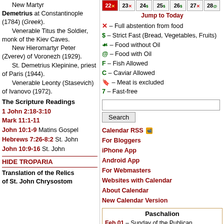New Martyr Demetrius at Constantinople (1784) (Greek).
Venerable Titus the Soldier, monk of the Kiev Caves.
New Hieromartyr Peter (Zverev) of Voronezh (1929).
St. Demetrius Klepinine, priest of Paris (1944).
Venerable Leonty (Stasevich) of Ivanovo (1972).
The Scripture Readings
1 John 2:18-3:10 Mark 11:1-11 John 10:1-9 Matins Gospel Hebrews 7:26-8:2 St. John John 10:9-16 St. John
HIDE TROPARIA
Translation of the Relics of St. John Chrysostom
[Figure (other): Calendar date strip showing dates 22-28 with icons]
Jump to Today
x – Full abstention from food
$ – Strict Fast (Bread, Vegetables, Fruits)
food without oil icon – Food without Oil
food with oil icon – Food with Oil
F – Fish Allowed
C – Caviar Allowed
meat icon – Meat is excluded
7 – Fast-free
Search
Calendar RSS For Bloggers iPhone App Android App For Webmasters Websites with Calendar About Calendar New Calendar Version
| Paschalion |
| --- |
| Feb 01 – Sunday of the Publican and Pharisee |
| Feb 15 – Meatfare Sunday |